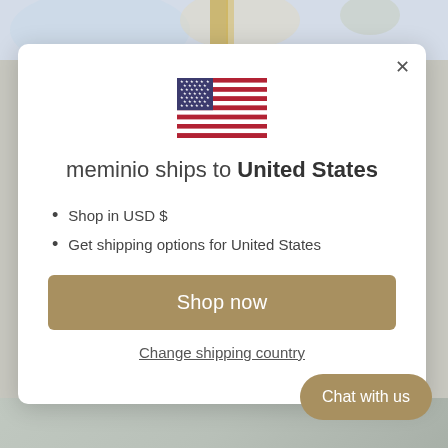[Figure (screenshot): Background showing decorative wallpaper and interior scene, partially visible behind modal]
[Figure (illustration): US flag SVG illustration displayed at the top center of the modal dialog]
meminio ships to United States
Shop in USD $
Get shipping options for United States
Shop now
Change shipping country
Chat with us